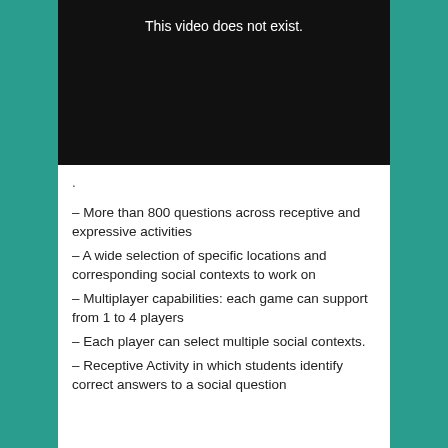[Figure (screenshot): Black video player showing 'This video does not exist.' text in white]
.
– More than 800 questions across receptive and expressive activities
– A wide selection of specific locations and corresponding social contexts to work on
– Multiplayer capabilities: each game can support from 1 to 4 players
– Each player can select multiple social contexts.
– Receptive Activity in which students identify correct answers to a social question